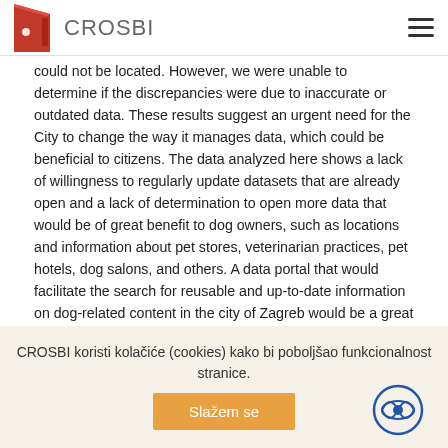CROSBI
could not be located. However, we were unable to determine if the discrepancies were due to inaccurate or outdated data. These results suggest an urgent need for the City to change the way it manages data, which could be beneficial to citizens. The data analyzed here shows a lack of willingness to regularly update datasets that are already open and a lack of determination to open more data that would be of great benefit to dog owners, such as locations and information about pet stores, veterinarian practices, pet hotels, dog salons, and others. A data portal that would facilitate the search for reusable and up-to-date information on dog-related content in the city of Zagreb would be a great step towards a smart city approach in the city administration.
Izvorni jezik
Hrvatski, engleski
CROSBI koristi kolačiće (cookies) kako bi poboljšao funkcionalnost stranice.